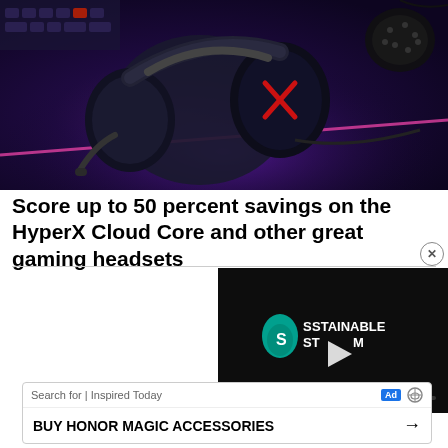[Figure (photo): HyperX Cloud Core gaming headset on a dark mousepad with keyboard and mouse in background, purple/pink ambient lighting]
Score up to 50 percent savings on the HyperX Cloud Core and other great gaming headsets
[Figure (screenshot): Video player showing 'Sustainable Stream' branding with play button and teal progress bar on dark background]
Search for | Inspired Today
BUY HONOR MAGIC ACCESSORIES →